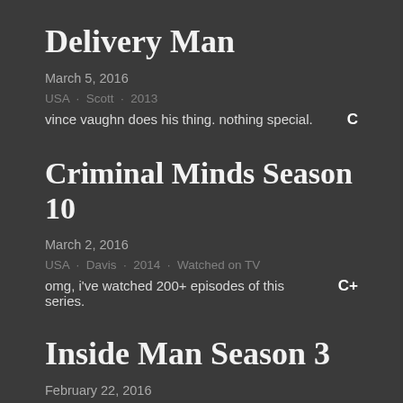Delivery Man
March 5, 2016
USA · Scott · 2013
vince vaughn does his thing. nothing special.   C
Criminal Minds Season 10
March 2, 2016
USA · Davis · 2014 · Watched on TV
omg, i've watched 200+ episodes of this series.   C+
Inside Man Season 3
February 22, 2016
USA · Snurloak · 2016 · Watched on TV